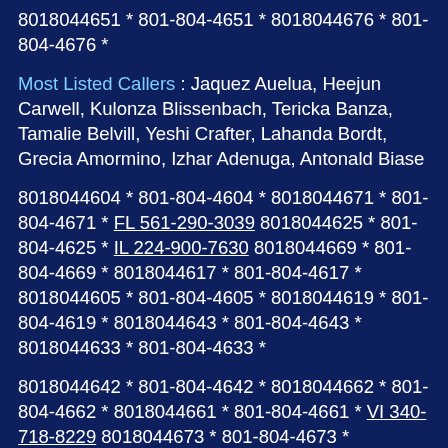8018044651 * 801-804-4651 * 8018044676 * 801-804-4676 *
Most Listed Callers : Jaquez Auelua, Heejun Carwell, Kulonza Blissenbach, Tericka Banza, Tamalie Belvill, Yeshi Crafter, Lahanda Bordt, Grecia Amormino, Izhar Adenuga, Antonald Biase
8018044604 * 801-804-4604 * 8018044671 * 801-804-4671 * FL 561-290-3039 8018044625 * 801-804-4625 * IL 224-900-7630 8018044669 * 801-804-4669 * 8018044617 * 801-804-4617 * 8018044605 * 801-804-4605 * 8018044619 * 801-804-4619 * 8018044643 * 801-804-4643 * 8018044633 * 801-804-4633 *
8018044642 * 801-804-4642 * 8018044662 * 801-804-4662 * 8018044661 * 801-804-4661 * VI 340-718-8229 8018044673 * 801-804-4673 * 8018044675 * 801-804-4675 * 8018044600 * 801-804-4600 *
8018044614 * 801-804-4614 * 8018044631 * 801-804-4631 * 8018044628 * 801-804-4628 * MO 660-816-2682 8018044653 * 801-804-4653 * 8018044596 * 801-804-4596 *
8018044663 * 801-804-4663 * 8018044595 * 801-804-